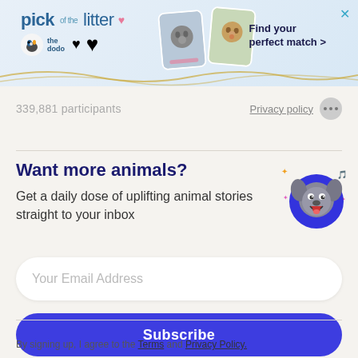[Figure (screenshot): Ad banner for 'The Dodo' - pick of the litter, with pet photos and 'Find your perfect match >' tagline]
339,881 participants
Privacy policy
Want more animals?
Get a daily dose of uplifting animal stories straight to your inbox
Your Email Address
Subscribe
By signing up, I agree to the Terms and Privacy Policy.